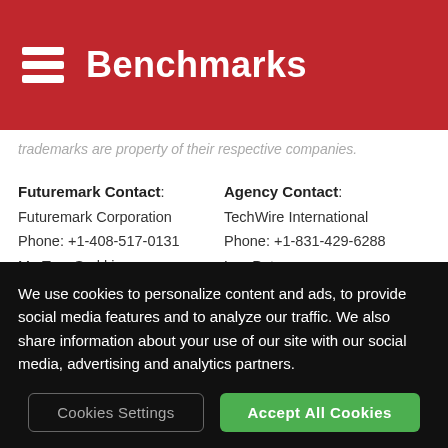Benchmarks
trademarks are property of their respective companies.
Futuremark Contact:
Futuremark Corporation
Phone: +1-408-517-0131
Mr. Tero Sarkkinen
Executive Vice President of Sales and Marketing
Email: tero@futuremark.com
Agency Contact:
TechWire International
Phone: +1-831-429-6288
Leo Pot
Email:
information@ezwire.com
We use cookies to personalize content and ads, to provide social media features and to analyze our traffic. We also share information about your use of our site with our social media, advertising and analytics partners.
Cookies Settings
Accept All Cookies